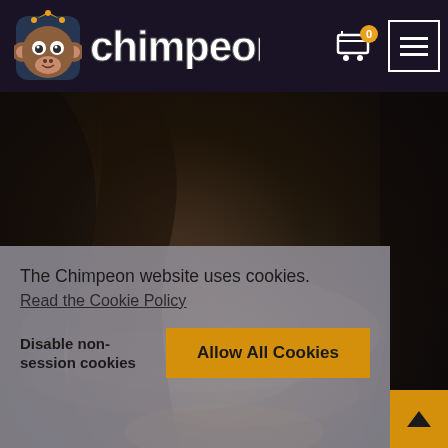[Figure (logo): Chimpeon website header with monkey logo and brand name 'chimpeon', shopping cart icon with badge '0', and hamburger menu button on dark purple background]
[Figure (photo): Dark fantasy/gaming themed hero image with smoky atmospheric background]
The Chimpeon website uses cookies.
Read the Cookie Policy
Disable non-session cookies
Allow All Cookies